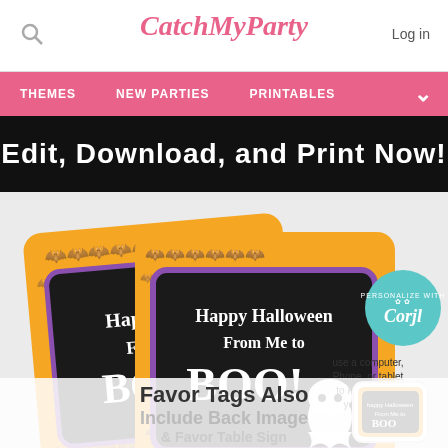CatchMyParty
Log in
THEMES   NEW PARTIES   PRINTABLES
[Figure (screenshot): Screenshot of CatchMyParty website showing Halloween favor tags with 'Happy Halloween From Me to Boo!' text on orange background with bats, and a Corjl personalization badge. Black banner reads 'Edit, Download, and Print Now!' Bottom text reads 'Favor Tags Also Include Back Image & Favor Table Sign']